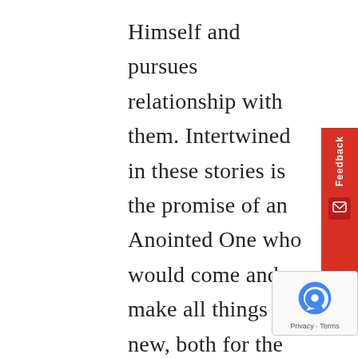Himself and pursues relationship with them. Intertwined in these stories is the promise of an Anointed One who would come and make all things new, both for the present age and the age to come. There is about a 400-year gap between the Old Testament and the New Testament.  In that gap there seems to be silence, but we have to wonder if there wasn't a certain anticipation. We have to wonder if within those pages of history in the in-between, as the Israelites were rebuilding their lives again following a time of a captivity and exile, they weren't also solidifying their